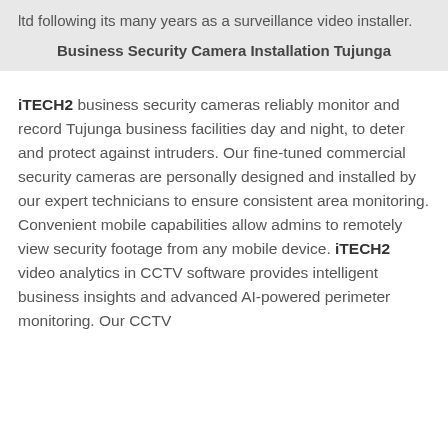ltd following its many years as a surveillance video installer.
Business Security Camera Installation Tujunga
iTECH2 business security cameras reliably monitor and record Tujunga business facilities day and night, to deter and protect against intruders. Our fine-tuned commercial security cameras are personally designed and installed by our expert technicians to ensure consistent area monitoring. Convenient mobile capabilities allow admins to remotely view security footage from any mobile device. iTECH2 video analytics in CCTV software provides intelligent business insights and advanced AI-powered perimeter monitoring. Our CCTV